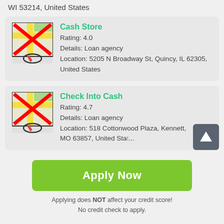WI 53214, United States
Cash Store
Rating: 4.0
Details: Loan agency
Location: 5205 N Broadway St, Quincy, IL 62305, United States
Check Into Cash
Rating: 4.7
Details: Loan agency
Location: 518 Cottonwood Plaza, Kennett, MO 63857, United States
Apply Now
Applying does NOT affect your credit score!
No credit check to apply.